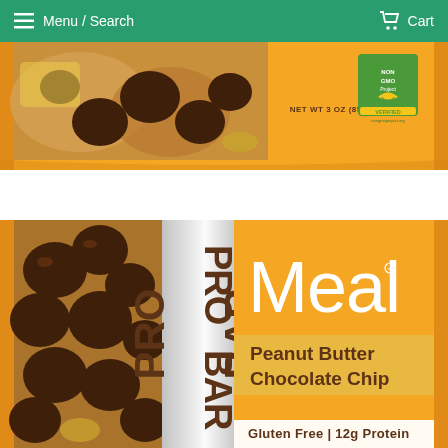Menu / Search  Cart
[Figure (photo): PROBAR product wrapper in orange color, partially cropped showing the top portion of a peanut butter chocolate chip meal bar with NET WT 3 OZ (85g) label and Non-GMO Project Verified badge]
[Figure (photo): PROBAR Meal bar - Peanut Butter Chocolate Chip flavor. Orange wrapper with chocolate pieces visible on left side, PROBAR text in vertical orientation in center panel, large 'Meal' text on right orange section with 'Peanut Butter Chocolate Chip' in darker band below, and 'Gluten Free | 12g Protein' at bottom]